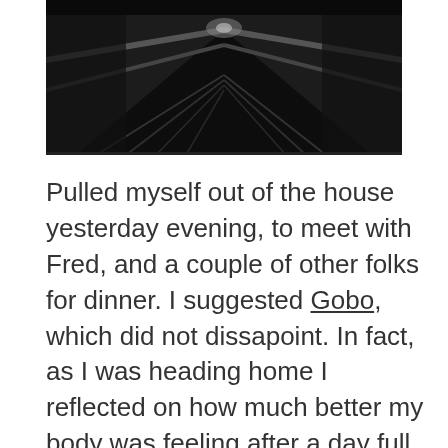[Figure (photo): Black and white photograph showing a staircase or escalator with railings, viewed from above, dark and moody lighting.]
Pulled myself out of the house yesterday evening, to meet with Fred, and a couple of other folks for dinner. I suggested Gobo, which did not dissapoint. In fact, as I was heading home I reflected on how much better my body was feeling after a day full of headaches, allergies, bloaty-ness and lassitude. I guessing that in part it was because there were very few carbs in the meal. The standout dish was a nori wrapped tofu in a thai red curry. It had bite and an undercurrent of smokiness. As for the company, it was one of those evenings where as we talked more, we ran